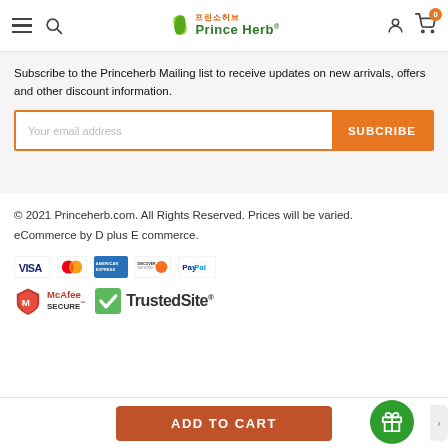Prince Herb (프린소허브) — navigation header with hamburger menu, search, logo, account and cart (0)
Subscribe to the Princeherb Mailing list to receive updates on new arrivals, offers and other discount information.
Your email address [input field] SUBCRIBE [button]
© 2021 Princeherb.com. All Rights Reserved. Prices will be varied.
eCommerce by D plus E commerce.
[Figure (logo): Payment method icons: VISA, Mastercard, American Express, Discover, PayPal]
[Figure (logo): Trust badges: McAfee SECURE and TrustedSite]
ADD TO CART